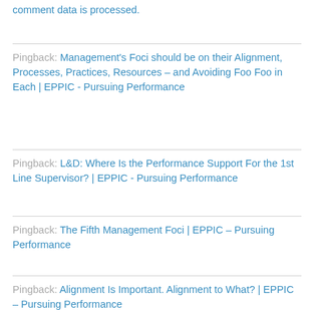comment data is processed.
Pingback: Management's Foci should be on their Alignment, Processes, Practices, Resources – and Avoiding Foo Foo in Each | EPPIC - Pursuing Performance
Pingback: L&D: Where Is the Performance Support For the 1st Line Supervisor? | EPPIC - Pursuing Performance
Pingback: The Fifth Management Foci | EPPIC – Pursuing Performance
Pingback: Alignment Is Important. Alignment to What? | EPPIC – Pursuing Performance